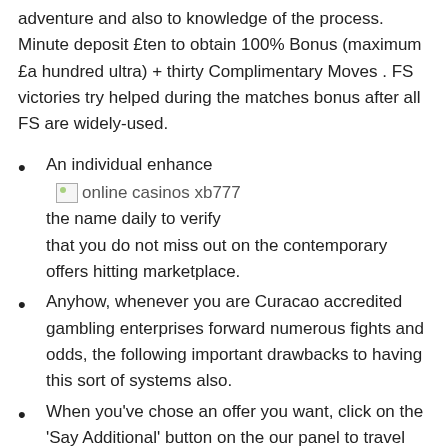adventure and also to knowledge of the process. Minute deposit £ten to obtain 100% Bonus (maximum £a hundred ultra) + thirty Complimentary Moves . FS victories try helped during the matches bonus after all FS are widely-used.
An individual enhance the name daily to verify that you do not miss out on the contemporary offers hitting marketplace.
Anyhow, whenever you are Curacao accredited gambling enterprises forward numerous fights and odds, the following important drawbacks to having this sort of systems also.
When you've chose an offer you want, click on the 'Say Additional' button on the our panel to travel right into your gaming's sign-up webpage.
Choose Option Continue (truncated at bottom)